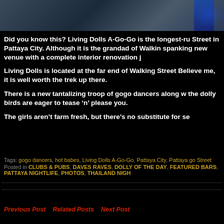[Figure (photo): Top banner image showing a dark blue/grey textured background, partially showing a person or scene, cropped at top of page]
Did you know this? Living Dolls A-Go-Go is the longest-ru Street in Pattaya City. Although it is the grandad of Walkin spanking new venue with a complete interior renovation j
Living Dolls is located at the far end of Walking Street Believe me, it is well worth the trek up there.
There is a new tantalizing troop of gogo dancers along w the dolly birds are eager to tease ‘n’ please you.
The girls aren’t farm fresh, but there’s no substitute for se
Tags: gogo dancers, hot babes, Living Dolls A-Go-Go, Pattaya City, Pattaya go Street
Posted in CLUBS & PUBS, DAVES RAVES, DOLLY OF THE DAY, FEATURED BARS, PATTAYA NIGHTLIFE, PHOTOS, THAILAND NIGH